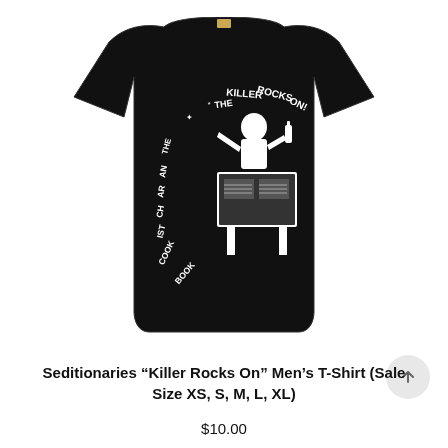[Figure (photo): Black Seditionaries 'Killer Rocks On' men's t-shirt laid flat on white background, with white graphic print on chest depicting 'The Killer Rocks On' anarchist cookbook imagery with stylized lettering and a central figure.]
Seditionaries “Killer Rocks On” Men’s T-Shirt (Sale Size XS, S, M, L, XL)
$10.00